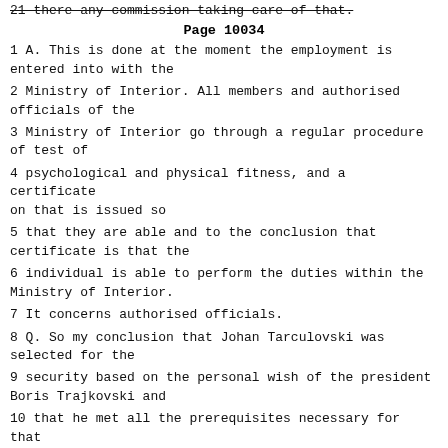21 there any commission taking care of that.
Page 10034
1 A. This is done at the moment the employment is entered into with the
2 Ministry of Interior. All members and authorised officials of the
3 Ministry of Interior go through a regular procedure of test of
4 psychological and physical fitness, and a certificate on that is issued so
5 that they are able and to the conclusion that certificate is that the
6 individual is able to perform the duties within the Ministry of Interior.
7 It concerns authorised officials.
8 Q. So my conclusion that Johan Tarculovski was selected for the
9 security based on the personal wish of the president Boris Trajkovski and
10 that he met all the prerequisites necessary for that post would be